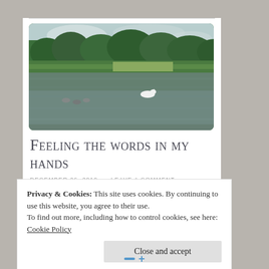[Figure (photo): Landscape photo of a calm lake with swans and ducks on the water, surrounded by green trees and shrubs in summer]
Feeling the words in my hands
December 26, 2019 ~ Leave a comment
Privacy & Cookies: This site uses cookies. By continuing to use this website, you agree to their use.
To find out more, including how to control cookies, see here: Cookie Policy
Close and accept